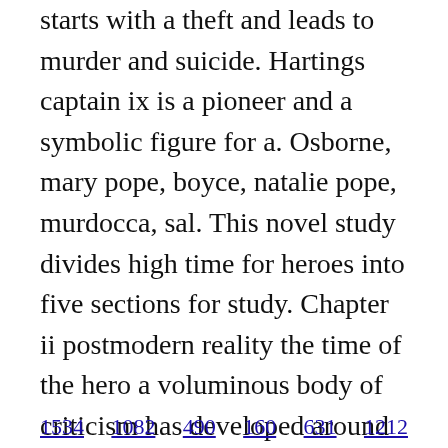starts with a theft and leads to murder and suicide. Hartings captain ix is a pioneer and a symbolic figure for a. Osborne, mary pope, boyce, natalie pope, murdocca, sal. This novel study divides high time for heroes into five sections for study. Chapter ii postmodern reality the time of the hero a voluminous body of criticism has developed around the oncecontroversial, now classic novel, the time of the hero 1962 by vargas llosa. Buy 51 high time for heroes mary pope osborne magic tree house english pdf.
1534  1082  490  160  631  1212